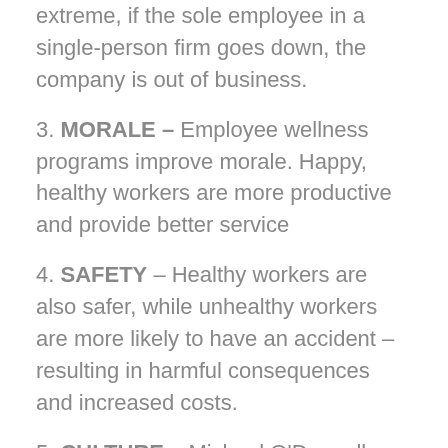extreme, if the sole employee in a single-person firm goes down, the company is out of business.
3. MORALE – Employee wellness programs improve morale. Happy, healthy workers are more productive and provide better service
4. SAFETY – Healthy workers are also safer, while unhealthy workers are more likely to have an accident – resulting in harmful consequences and increased costs.
5. CULTURE – Michael O'Donnell found that organizational culture (hyperlink to updated blog post You Won't Find ROI) is the single